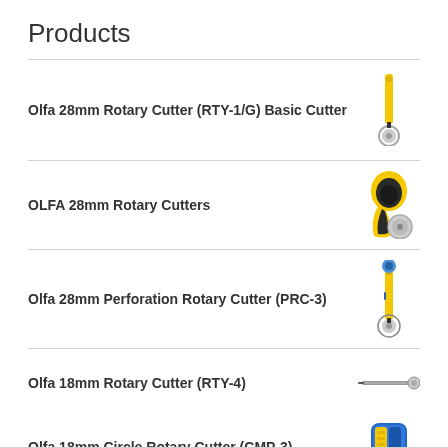Products
Olfa 28mm Rotary Cutter (RTY-1/G) Basic Cutter
OLFA 28mm Rotary Cutters
Olfa 28mm Perforation Rotary Cutter (PRC-3)
Olfa 18mm Rotary Cutter (RTY-4)
Olfa 18mm Circle Rotary Cutter (CMP-3)